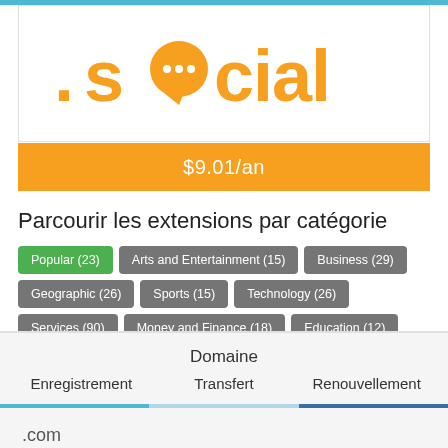[Figure (logo): .social domain logo with orange text and speech bubble replacing the letter 'o']
$9.01/an
Parcourir les extensions par catégorie
Popular (23)
Arts and Entertainment (15)
Business (29)
Geographic (26)
Sports (15)
Technology (26)
Services (90)
Money and Finance (18)
Education (12)
Food and Drink (14)
Leisure and Recreation (27)
Shopping (50)
Real Estate (17)
Novelty (27)
Other (157)
Domaine
Enregistrement
Transfert
Renouvellement
.com